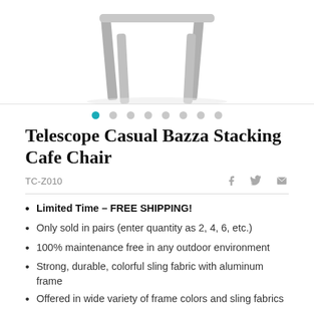[Figure (photo): Partial view of a Telescope Casual Bazza Stacking Cafe Chair showing the seat and legs against a white background]
Telescope Casual Bazza Stacking Cafe Chair
TC-Z010
Limited Time – FREE SHIPPING!
Only sold in pairs (enter quantity as 2, 4, 6, etc.)
100% maintenance free in any outdoor environment
Strong, durable, colorful sling fabric with aluminum frame
Offered in wide variety of frame colors and sling fabrics
Perfect for many uses including contract use.